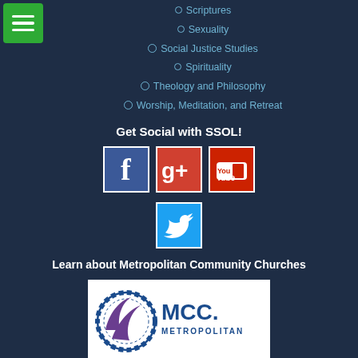[Figure (other): Green hamburger menu button icon in top left corner]
Scriptures
Sexuality
Social Justice Studies
Spirituality
Theology and Philosophy
Worship, Meditation, and Retreat
Get Social with SSOL!
[Figure (logo): Facebook logo icon - blue square with white F]
[Figure (logo): Google Plus logo icon - red/orange square with white g+]
[Figure (logo): YouTube logo icon - red square with white YouTube text]
[Figure (logo): Twitter logo icon - light blue square with white bird]
Learn about Metropolitan Community Churches
[Figure (logo): MCC Metropolitan Community Churches logo - circular globe design in blue and purple with MCC. text]